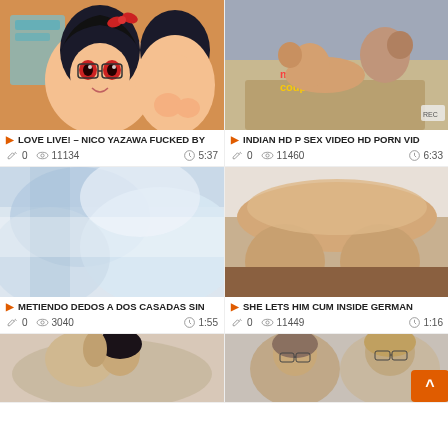[Figure (screenshot): Anime thumbnail showing two anime girl characters]
LOVE LIVE! – NICO YAZAWA FUCKED BY
0  11134  5:37
[Figure (screenshot): Indian couple video thumbnail]
INDIAN HD P SEX VIDEO HD PORN VID
0  11460  6:33
[Figure (screenshot): Blurry close-up video thumbnail]
METIENDO DEDOS A DOS CASADAS SIN
0  3040  1:55
[Figure (screenshot): German video thumbnail showing body close-up]
SHE LETS HIM CUM INSIDE GERMAN
0  11449  1:16
[Figure (screenshot): Bottom left video thumbnail]
[Figure (screenshot): Bottom right video thumbnail showing two women with glasses]